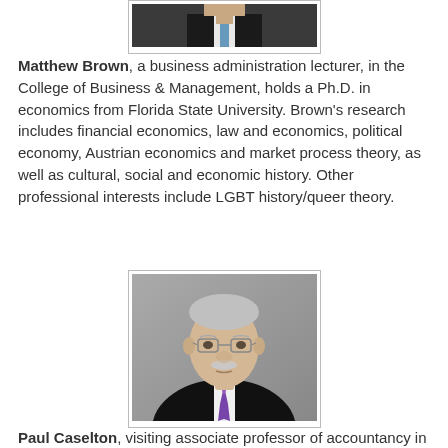[Figure (photo): Partial photo of Matthew Brown, cropped at top, showing lower portion of a person in a suit with blue tie against a light background]
Matthew Brown, a business administration lecturer, in the College of Business & Management, holds a Ph.D. in economics from Florida State University. Brown's research includes financial economics, law and economics, political economy, Austrian economics and market process theory, as well as cultural, social and economic history. Other professional interests include LGBT history/queer theory.
[Figure (photo): Professional headshot of Paul Caselton, an older man with glasses and a white mustache, wearing a black suit and purple tie, against a gray background]
Paul Caselton, visiting associate professor of accountancy in the College of Business & Management, holds a J.D. in law from Stanford Law School. Caselton's professional interests include...